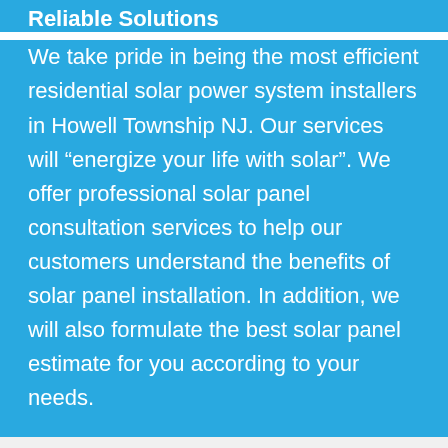Reliable Solutions
We take pride in being the most efficient residential solar power system installers in Howell Township NJ. Our services will “energize your life with solar”. We offer professional solar panel consultation services to help our customers understand the benefits of solar panel installation. In addition, we will also formulate the best solar panel estimate for you according to your needs.
Brightening Your Life
Our company offers the best solar panel costs in Howell Township NJ and is the most